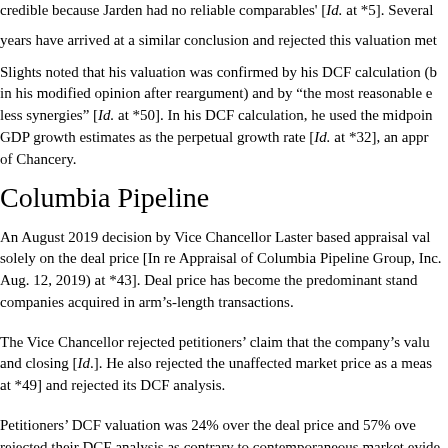credible because Jarden had no reliable comparables' [Id. at *5]. Several years have arrived at a similar conclusion and rejected this valuation met
Slights noted that his valuation was confirmed by his DCF calculation (b in his modified opinion after reargument) and by "the most reasonable e less synergies" [Id. at *50]. In his DCF calculation, he used the midpoi GDP growth estimates as the perpetual growth rate [Id. at *32], an appr of Chancery.
Columbia Pipeline
An August 2019 decision by Vice Chancellor Laster based appraisal va solely on the deal price [In re Appraisal of Columbia Pipeline Group, Inc. Aug. 12, 2019) at *43]. Deal price has become the predominant stand companies acquired in arm's-length transactions.
The Vice Chancellor rejected petitioners' claim that the company's valu and closing [Id.]. He also rejected the unaffected market price as a mea at *49] and rejected its DCF analysis.
Petitioners' DCF valuation was 24% over the deal price and 57% ov rejected their DCF analysis as contrary to contemporaneous market evide
[Expert]'s opinion that the value of Columbia materially exceede with the market behavior of other potential strategic acquirers w Columbia, and who did not step forward to top TransCanada's pri